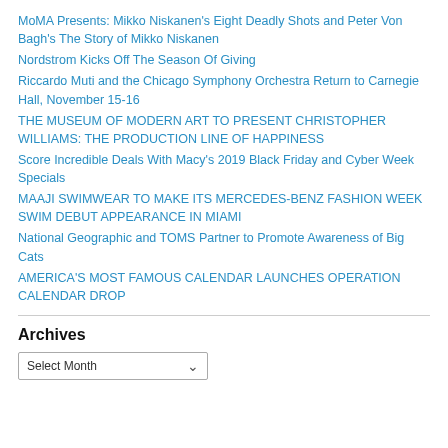MoMA Presents: Mikko Niskanen's Eight Deadly Shots and Peter Von Bagh's The Story of Mikko Niskanen
Nordstrom Kicks Off The Season Of Giving
Riccardo Muti and the Chicago Symphony Orchestra Return to Carnegie Hall, November 15-16
THE MUSEUM OF MODERN ART TO PRESENT CHRISTOPHER WILLIAMS: THE PRODUCTION LINE OF HAPPINESS
Score Incredible Deals With Macy's 2019 Black Friday and Cyber Week Specials
MAAJI SWIMWEAR TO MAKE ITS MERCEDES-BENZ FASHION WEEK SWIM DEBUT APPEARANCE IN MIAMI
National Geographic and TOMS Partner to Promote Awareness of Big Cats
AMERICA'S MOST FAMOUS CALENDAR LAUNCHES OPERATION CALENDAR DROP
Archives